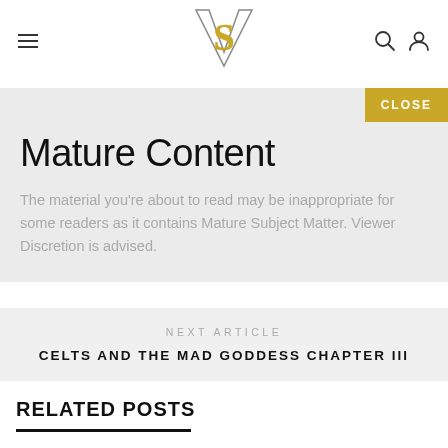≡  [VS Logo]  🔍  👤
Mature Content
The material you're about to read may be inappropriate for some readers as it contains Mature Subject Matter. Viewer Discretion is advised.
NEXT ARTICLE
CELTS AND THE MAD GODDESS CHAPTER III
RELATED POSTS